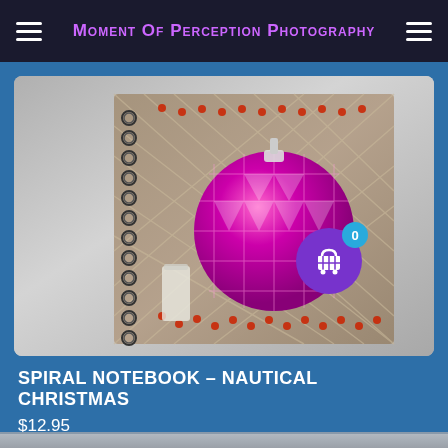Moment Of Perception Photography
[Figure (photo): A spiral notebook product photo showing a pink/magenta Christmas ornament ball against a rope netting and wood background with red bead garland. A purple shopping cart button with badge showing '0' is overlaid on the image.]
SPIRAL NOTEBOOK – NAUTICAL CHRISTMAS
$12.95